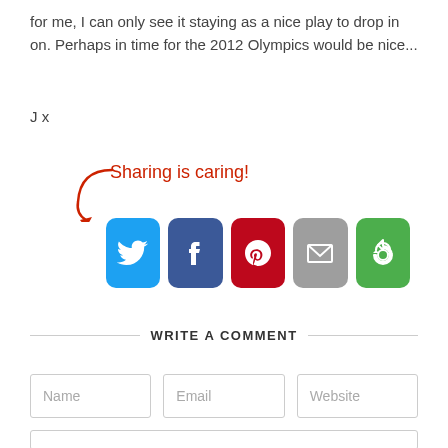for me, I can only see it staying as a nice play to drop in on. Perhaps in time for the 2012 Olympics would be nice...
J x
[Figure (infographic): Sharing is caring! text with arrow and social media icons: Twitter, Facebook, Pinterest, Email, Share]
WRITE A COMMENT
Name | Email | Website form fields
Comment text area (partial)